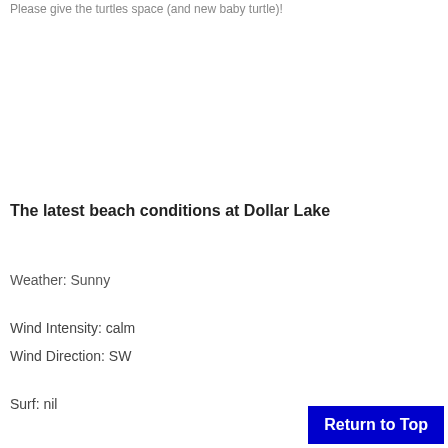Please give the turtles space (and new baby turtle)!
The latest beach conditions at Dollar Lake
Weather: Sunny
Wind Intensity: calm
Wind Direction: SW
Surf: nil